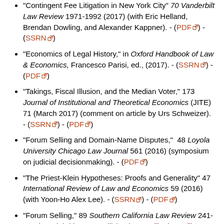"Contingent Fee Litigation in New York City" 70 Vanderbilt Law Review 1971-1992 (2017) (with Eric Helland, Brendan Dowling, and Alexander Kappner). - (PDF) - (SSRN)
"Economics of Legal History," in Oxford Handbook of Law & Economics, Francesco Parisi, ed., (2017). - (SSRN) - (PDF)
"Takings, Fiscal Illusion, and the Median Voter," 173 Journal of Institutional and Theoretical Economics (JITE) 71 (March 2017) (comment on article by Urs Schweizer). - (SSRN) - (PDF)
"Forum Selling and Domain-Name Disputes," 48 Loyola University Chicago Law Journal 561 (2016) (symposium on judicial decisionmaking). - (PDF)
"The Priest-Klein Hypotheses: Proofs and Generality" 47 International Review of Law and Economics 59 (2016) (with Yoon-Ho Alex Lee). - (SSRN) - (PDF)
"Forum Selling," 89 Southern California Law Review 241-315 (2016) (with Greg Reilly). - (SSRN) - (PDF)
"Inside the Caucus: An Empirical Analysis of Mediation